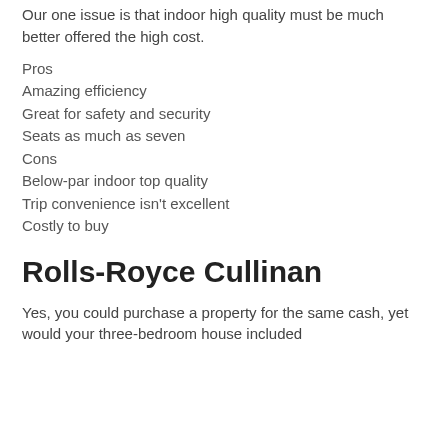Our one issue is that indoor high quality must be much better offered the high cost.
Pros
Amazing efficiency
Great for safety and security
Seats as much as seven
Cons
Below-par indoor top quality
Trip convenience isn't excellent
Costly to buy
Rolls-Royce Cullinan
Yes, you could purchase a property for the same cash, yet would your three-bedroom house included